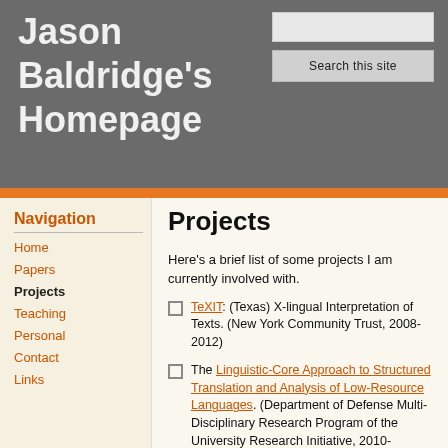Jason Baldridge's Homepage
Navigation
Home
Papers
Projects
Teaching
Personal
Contact
Links
Projects
Here's a brief list of some projects I am currently involved with.
TeXIT: (Texas) X-lingual Interpretation of Texts. (New York Community Trust, 2008-2012)
The Linguistic-Core Approach to Structured Translation and Analysis of Low-Resource Languages. (Department of Defense Multi-Disciplinary Research Program of the University Research Initiative, 2010-